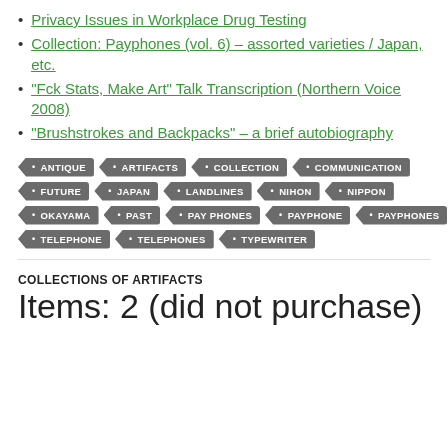Privacy Issues in Workplace Drug Testing
Collection: Payphones (vol. 6) – assorted varieties / Japan, etc.
“Fck Stats, Make Art” Talk Transcription (Northern Voice 2008)
“Brushstrokes and Backpacks” – a brief autobiography
ANTIQUE ARTIFACTS COLLECTION COMMUNICATION FUTURE JAPAN LANDLINES NIHON NIPPON OKAYAMA PAST PAY PHONES PAYPHONE PAYPHONES TELEPHONE TELEPHONES TYPEWRITER
COLLECTIONS OF ARTIFACTS
Items: 2 (did not purchase)